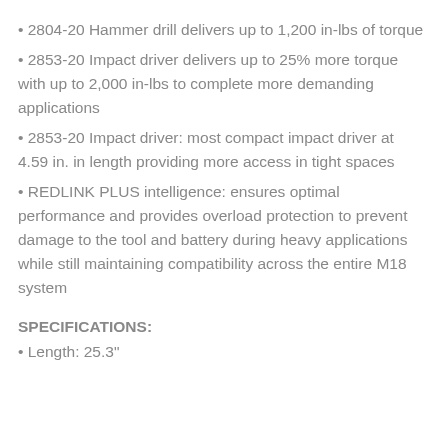• 2804-20 Hammer drill delivers up to 1,200 in-lbs of torque
• 2853-20 Impact driver delivers up to 25% more torque with up to 2,000 in-lbs to complete more demanding applications
• 2853-20 Impact driver: most compact impact driver at 4.59 in. in length providing more access in tight spaces
• REDLINK PLUS intelligence: ensures optimal performance and provides overload protection to prevent damage to the tool and battery during heavy applications while still maintaining compatibility across the entire M18 system
SPECIFICATIONS:
• Length: 25.3"